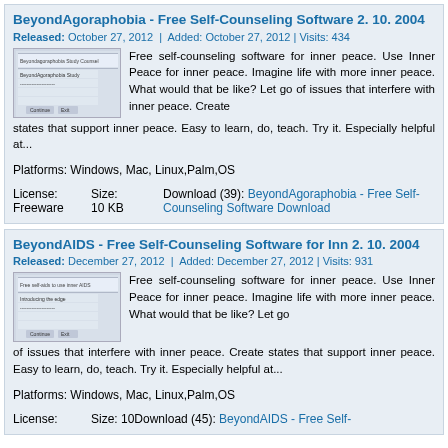BeyondAgoraphobia - Free Self-Counseling Software 2. 10. 2004
Released: October 27, 2012  |  Added: October 27, 2012 | Visits: 434
Free self-counseling software for inner peace. Use Inner Peace for inner peace. Imagine life with more inner peace. What would that be like? Let go of issues that interfere with inner peace. Create states that support inner peace. Easy to learn, do, teach. Try it. Especially helpful at...
Platforms: Windows, Mac, Linux,Palm,OS
License: Freeware    Size: 10 KB    Download (39): BeyondAgoraphobia - Free Self-Counseling Software Download
BeyondAIDS - Free Self-Counseling Software for Inn 2. 10. 2004
Released: December 27, 2012  |  Added: December 27, 2012 | Visits: 931
Free self-counseling software for inner peace. Use Inner Peace for inner peace. Imagine life with more inner peace. What would that be like? Let go of issues that interfere with inner peace. Create states that support inner peace. Easy to learn, do, teach. Try it. Especially helpful at...
Platforms: Windows, Mac, Linux,Palm,OS
License:    Size: 10    Download (45): BeyondAIDS - Free Self-